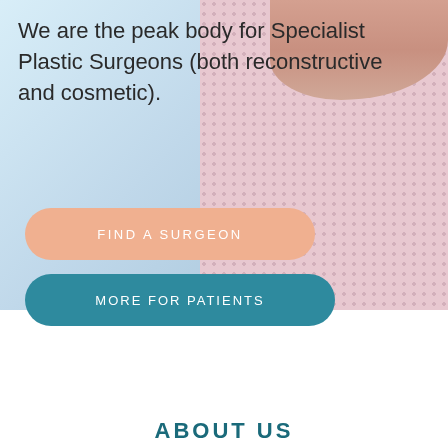[Figure (photo): Background image showing a person's shoulder/upper body wearing a pink textured knit fabric, with a light blue area on the left suggesting a medical or clinical environment]
We are the peak body for Specialist Plastic Surgeons (both reconstructive and cosmetic).
FIND A SURGEON
MORE FOR PATIENTS
ABOUT US